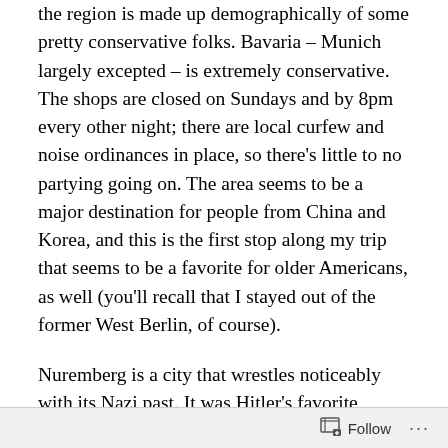the region is made up demographically of some pretty conservative folks. Bavaria – Munich largely excepted – is extremely conservative. The shops are closed on Sundays and by 8pm every other night; there are local curfew and noise ordinances in place, so there's little to no partying going on. The area seems to be a major destination for people from China and Korea, and this is the first stop along my trip that seems to be a favorite for older Americans, as well (you'll recall that I stayed out of the former West Berlin, of course).
Nuremberg is a city that wrestles noticeably with its Nazi past. It was Hitler's favorite German city and was host to party rallies from the mid 1920s onward. These included the biggest of rallies, and this “most German of cities” was the site at which the disturbing and perfectly crafted
Follow ···